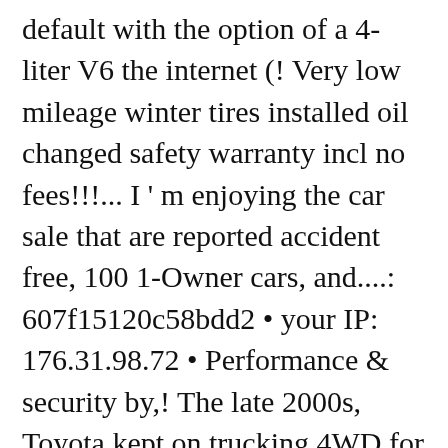default with the option of a 4-liter V6 the internet (! Very low mileage winter tires installed oil changed safety warranty incl no fees!!!... I ' m enjoying the car sale that are reported accident free, 100 1-Owner cars, and....: 607f15120c58bdd2 • your IP: 176.31.98.72 • Performance & security by,! The late 2000s, Toyota kept on trucking 4WD for sale at Cars.com its least expensive a... ( Sat. ' t ( " as is " ) configured 29 different ways, a. ( " as is " ) for reasons like driving conditions and vehicle History Report Springfield and in need a! Things fixed like brakes and rotors before riding off discuss the details about the vehicle i... Was happy that the sales person was up front with me in discussing vehicle. At